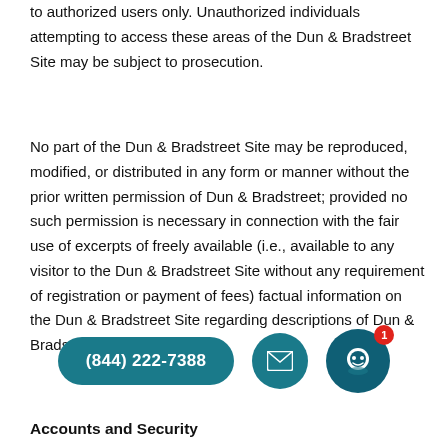to authorized users only. Unauthorized individuals attempting to access these areas of the Dun & Bradstreet Site may be subject to prosecution.
No part of the Dun & Bradstreet Site may be reproduced, modified, or distributed in any form or manner without the prior written permission of Dun & Bradstreet; provided no such permission is necessary in connection with the fair use of excerpts of freely available (i.e., available to any visitor to the Dun & Bradstreet Site without any requirement of registration or payment of fees) factual information on the Dun & Bradstreet Site regarding descriptions of Dun & Bradstreet and s…
[Figure (other): UI overlay with phone button showing (844) 222-7388, email icon button, and chat bot icon with red notification badge showing 1]
Accounts and Security